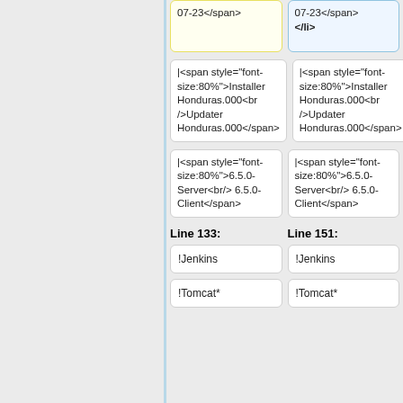07-23</span>
07-23</span>
</li>
|<span style="font-size:80%">Installer Honduras.000<br/>Updater Honduras.000</span>
|<span style="font-size:80%">Installer Honduras.000<br/>Updater Honduras.000</span>
|<span style="font-size:80%">6.5.0-Server<br/>6.5.0-Client</span>
|<span style="font-size:80%">6.5.0-Server<br/>6.5.0-Client</span>
Line 133:
Line 151:
!Jenkins
!Jenkins
!Tomcat*
!Tomcat*